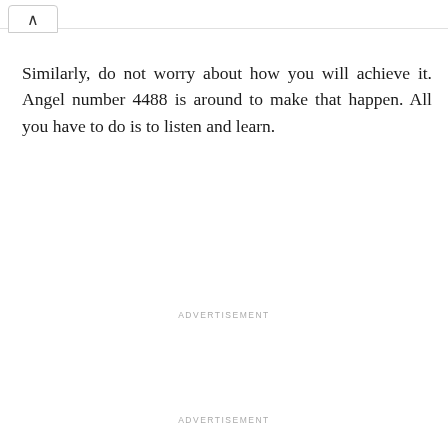Similarly, do not worry about how you will achieve it. Angel number 4488 is around to make that happen. All you have to do is to listen and learn.
ADVERTISEMENT
ADVERTISEMENT